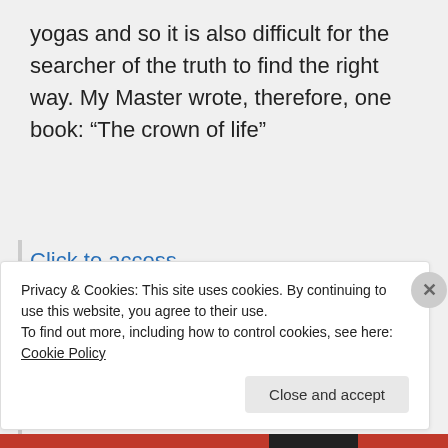yogas and so it is also difficult for the searcher of the truth to find the right way. My Master wrote, therefore, one book: “The crown of life”
Click to access Crown%20of%20life_engl_2019.pdf
in which He describes the range of the most common yoga-types. He also wrote a book: “Mystery of death”
Privacy & Cookies: This site uses cookies. By continuing to use this website, you agree to their use. To find out more, including how to control cookies, see here: Cookie Policy